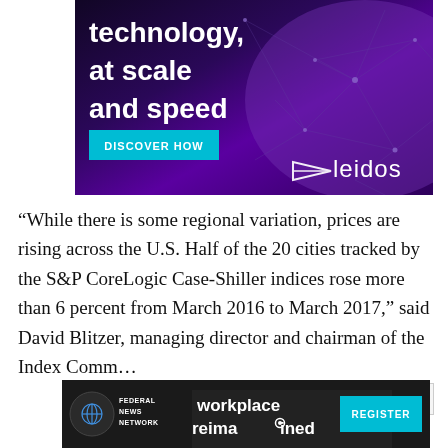[Figure (advertisement): Leidos advertisement with dark purple/blue network background. Large white bold text reading 'technology, at scale and speed' with a teal 'DISCOVER HOW' button and Leidos logo with paper airplane icon at bottom right.]
“While there is some regional variation, prices are rising across the U.S. Half of the 20 cities tracked by the S&P CoreLogic Case-Shiller indices rose more than 6 percent from March 2016 to March 2017,” said David Blitzer, managing director and chairman of the Index Comm...
[Figure (advertisement): Federal News Network advertisement with dark background. Text 'workplace reimagined' with a teal 'REGISTER' button on the right and FNN logo on the left.]